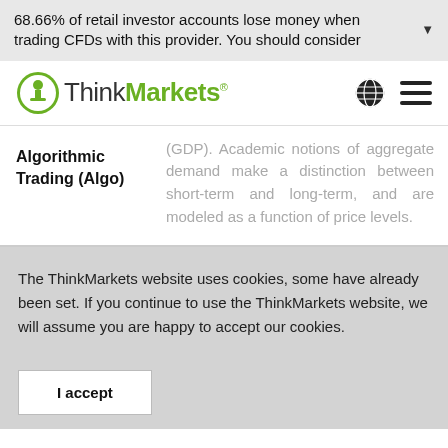68.66% of retail investor accounts lose money when trading CFDs with this provider. You should consider
[Figure (logo): ThinkMarkets logo with globe icon and hamburger menu]
(GDP). Academic notions of aggregate demand make a distinction between short-term and long-term, and are modeled as a function of price levels.
Algorithmic Trading (Algo)
The ThinkMarkets website uses cookies, some have already been set. If you continue to use the ThinkMarkets website, we will assume you are happy to accept our cookies.
I accept